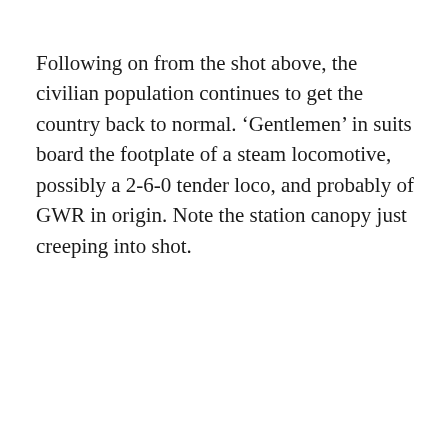Following on from the shot above, the civilian population continues to get the country back to normal. ‘Gentlemen’ in suits board the footplate of a steam locomotive, possibly a 2-6-0 tender loco, and probably of GWR in origin. Note the station canopy just creeping into shot.